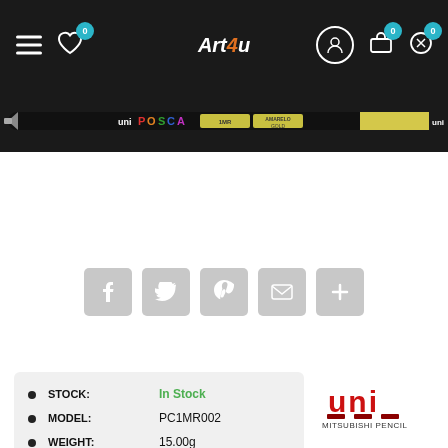Art4u - navigation bar with hamburger menu, wishlist (0), logo Art4u, account, cart (0), wishlist (0)
[Figure (photo): Uni POSCA PC-1MR fine tip paint marker pen in light gold/yellow color, shown full length against dark background]
[Figure (infographic): Social share buttons row: Facebook, Twitter, Pinterest, Email, More (plus icon) — all in light grey rounded square buttons]
| Field | Value |
| --- | --- |
| STOCK | In Stock |
| MODEL | PC1MR002 |
| WEIGHT | 15.00g |
[Figure (logo): Uni Mitsubishi Pencil logo in red and dark red]